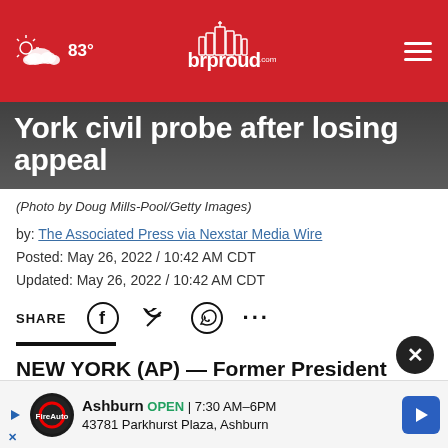brproud.com — 83° weather, navigation menu
York civil probe after losing appeal
(Photo by Doug Mills-Pool/Getty Images)
by: The Associated Press via Nexstar Media Wire
Posted: May 26, 2022 / 10:42 AM CDT
Updated: May 26, 2022 / 10:42 AM CDT
SHARE [Facebook] [Twitter] [WhatsApp] [...]
NEW YORK (AP) — Former President Donald Trump must answer questions under oath in New York state's [civil probe] [ces], a state appeals court ruled Thursday.